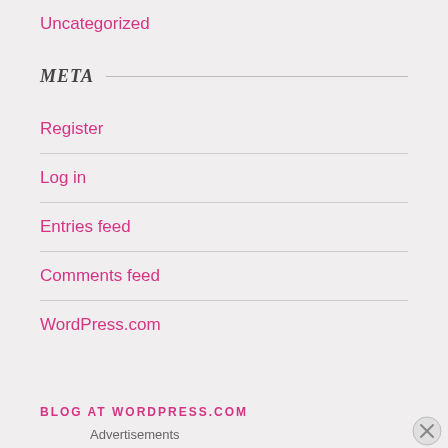Uncategorized
META
Register
Log in
Entries feed
Comments feed
WordPress.com
BLOG AT WORDPRESS.COM
Advertisements